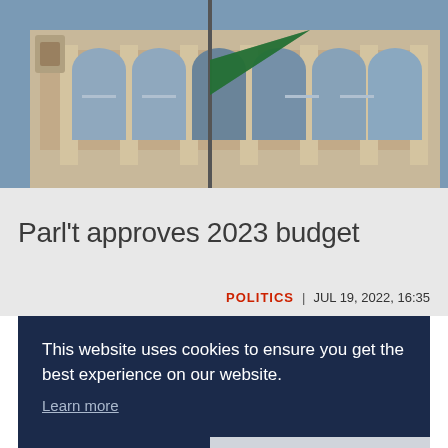[Figure (photo): Photograph of a government/parliament building facade with arched windows and columns, with a green flag in the foreground]
Parl't approves 2023 budget
POLITICS | JUL 19, 2022, 16:35
This website uses cookies to ensure you get the best experience on our website.
Learn more
Decline
Allow cookies